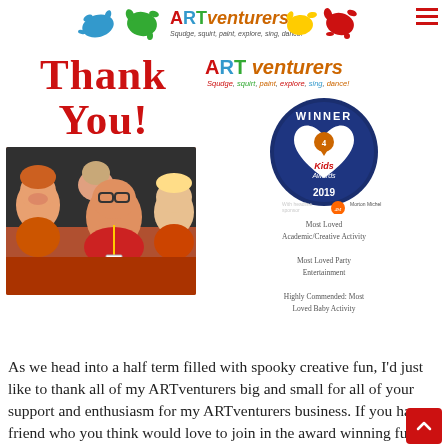[Figure (logo): ARTventurers logo with colourful paint splats and tagline 'Squdge, squirt, paint, explore, sing, dance!']
[Figure (photo): Group selfie of four smiling women, one wearing red top with lanyard and glasses]
Thank You!
[Figure (logo): ARTventurers logo text with tagline]
[Figure (other): 4Kids Awards 2019 Winner badge - circular dark blue badge with heart and map pin logo. With headline sponsor Morton Michel. Categories: Most Loved Academic/Creative Activity, Most Loved Party Entertainment, Highly Commended: Most Loved Baby Activity]
Most Loved Academic/Creative Activity
Most Loved Party Entertainment
Highly Commended: Most Loved Baby Activity
As we head into a half term filled with spooky creative fun, I'd just like to thank all of my ARTventurers big and small for all of your support and enthusiasm for my ARTventurers business. If you have a friend who you think would love to join in the award winning fun at our classes then please do spread